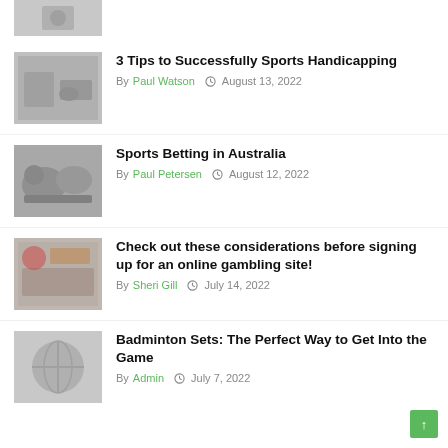[Figure (photo): Partial thumbnail image at top of page, cropped]
3 Tips to Successfully Sports Handicapping
By Paul Watson  August 13, 2022
[Figure (photo): Thumbnail of sports betting / calculator image]
Sports Betting in Australia
By Paul Petersen  August 12, 2022
[Figure (photo): Thumbnail of sports balls / equipment]
Check out these considerations before signing up for an online gambling site!
By Sheri Gill  July 14, 2022
[Figure (photo): Thumbnail of gambling / cards image]
Badminton Sets: The Perfect Way to Get Into the Game
By Admin  July 7, 2022
[Figure (photo): Thumbnail of badminton equipment]